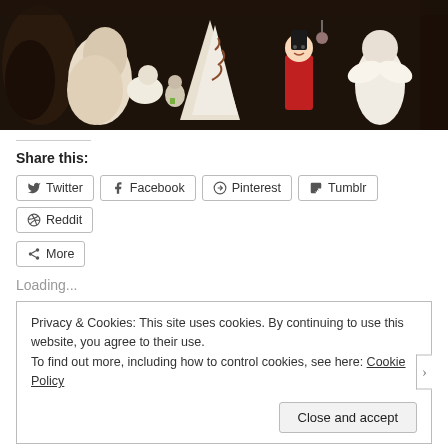[Figure (photo): A photograph of various Christmas/holiday ceramic figurines including angels, a British guard toy, and other decorative items arranged together on a dark background.]
Share this:
Twitter
Facebook
Pinterest
Tumblr
Reddit
More
Loading...
Privacy & Cookies: This site uses cookies. By continuing to use this website, you agree to their use.
To find out more, including how to control cookies, see here: Cookie Policy
Close and accept